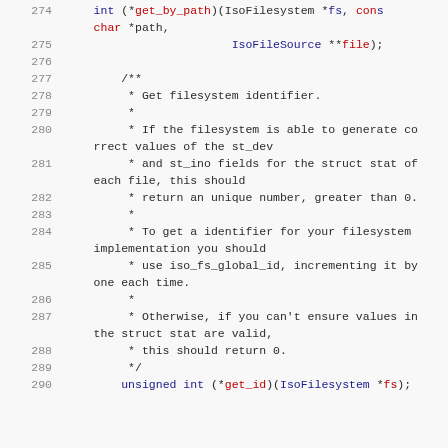Code listing lines 274-290 showing C code with comments about filesystem identifier
char *path,
    IsoFileSource **file);
/** * Get filesystem identifier. * * If the filesystem is able to generate correct values of the st_dev * and st_ino fields for the struct stat of each file, this should * return an unique number, greater than 0. * * * To get a identifier for your filesystem implementation you should * use iso_fs_global_id, incrementing it by one each time. * * * Otherwise, if you can't ensure values in the struct stat are valid, * this should return 0. */
unsigned int (*get_id)(IsoFilesystem *fs);